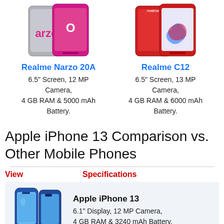[Figure (photo): Realme Narzo 20A smartphone product image showing front and back]
Realme Narzo 20A
6.5" Screen, 12 MP Camera,
4 GB RAM & 5000 mAh Battery.
[Figure (photo): Realme C12 smartphone product image showing front and back]
Realme C12
6.5" Screen, 13 MP Camera,
4 GB RAM & 6000 mAh Battery.
Apple iPhone 13 Comparison vs. Other Mobile Phones
View    Specifications
[Figure (photo): Apple iPhone 13 smartphone product image in blue]
Apple iPhone 13
6.1" Display, 12 MP Camera,
4 GB RAM & 3240 mAh Battery.